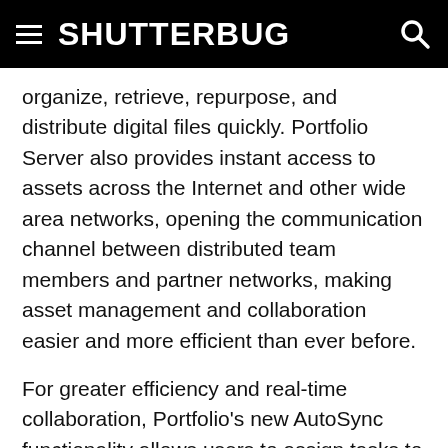SHUTTERBUG
organize, retrieve, repurpose, and distribute digital files quickly. Portfolio Server also provides instant access to assets across the Internet and other wide area networks, opening the communication channel between distributed team members and partner networks, making asset management and collaboration easier and more efficient than ever before.
For greater efficiency and real-time collaboration, Portfolio's new AutoSync functionality allows users to assign tasks to Portfolio Server, enabling automatic synchronization. This feature also offloads file management and processing to